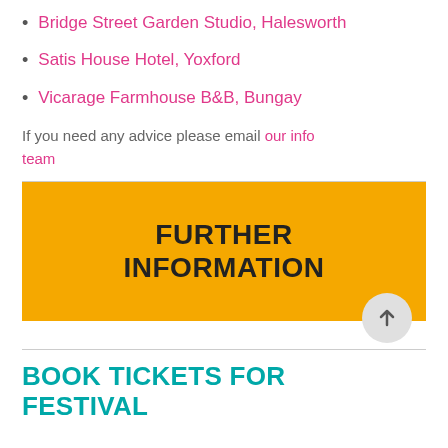Bridge Street Garden Studio, Halesworth
Satis House Hotel, Yoxford
Vicarage Farmhouse B&B, Bungay
If you need any advice please email our info team
[Figure (other): Yellow banner with bold black text reading FURTHER INFORMATION, with a circular up-arrow button overlapping the bottom right corner]
BOOK TICKETS FOR FESTIVAL